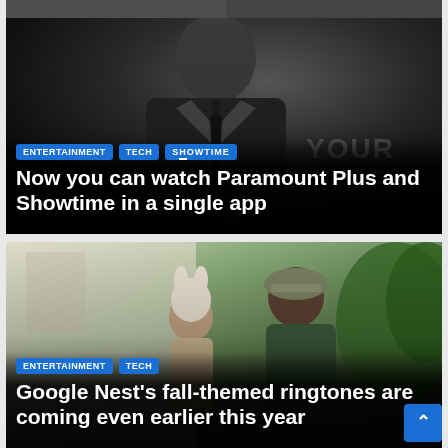[Figure (photo): Partial top card showing cropped dark image, partially visible at top of page]
[Figure (photo): Black and white photo of a man in a suit with SHOWTIME and YOUR HONOR branding overlay. Tags: ENTERTAINMENT, TECH, SHOWTIME logo]
Now you can watch Paramount Plus and Showtime in a single app
[Figure (photo): Color photo of a man and child (child wearing animal costume/hood) outdoors with greenery. Tags: ENTERTAINMENT, TECH]
Google Nest's fall-themed ringtones are coming even earlier this year